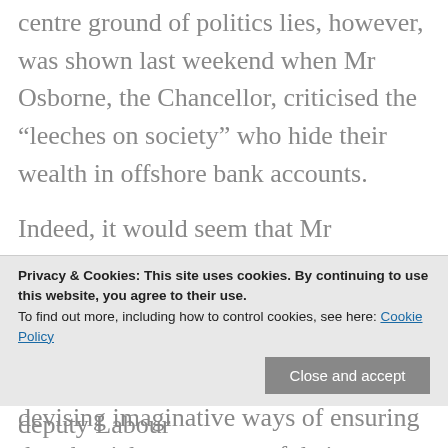centre ground of politics lies, however, was shown last weekend when Mr Osborne, the Chancellor, criticised the “leeches on society” who hide their wealth in offshore bank accounts.
Indeed, it would seem that Mr Miliband actually faces the opposite danger, which is that bright, young, compassionate Conservatives may seize the initiative from Labour in devising imaginative ways of ensuring that the rich meet more of their
Privacy & Cookies: This site uses cookies. By continuing to use this website, you agree to their use. To find out more, including how to control cookies, see here: Cookie Policy
(which, when Harriet Harman, the deputy Labour